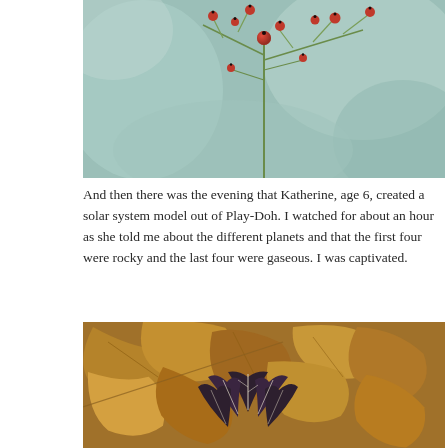[Figure (photo): Close-up macro photograph of red rose hips or berries on green stems against a soft blurred teal/green background]
And then there was the evening that Katherine, age 6, created a solar system model out of Play-Doh. I watched for about an hour as she told me about the different planets and that the first four were rocky and the last four were gaseous. I was captivated.
[Figure (photo): Close-up photograph of fallen autumn brown leaves with a small dark green plant with white veined leaves growing among them]